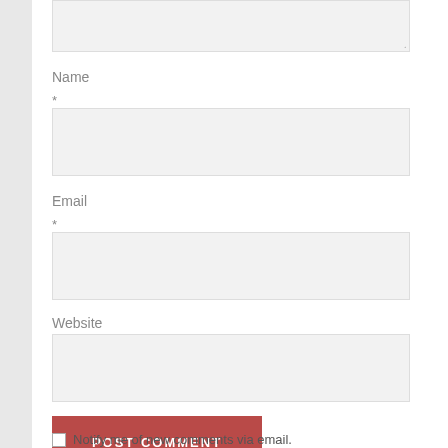[Figure (screenshot): Top portion of a textarea input field with a resize handle in the bottom-right corner, background light gray]
Name
*
[Figure (screenshot): Empty text input field for Name, light gray background with border]
Email
*
[Figure (screenshot): Empty text input field for Email, light gray background with border]
Website
[Figure (screenshot): Empty text input field for Website, light gray background with border]
[Figure (screenshot): Red POST COMMENT button]
Notify me of new comments via email.